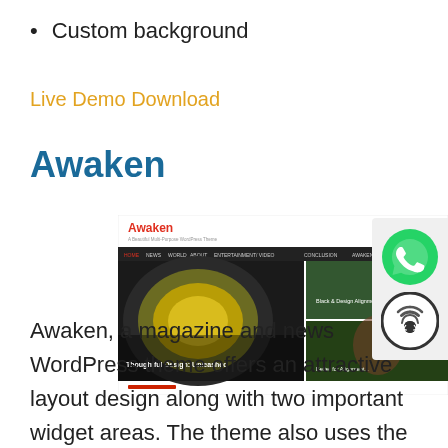Custom background
Live Demo Download
Awaken
[Figure (screenshot): Screenshot of the Awaken WordPress theme showing the theme name in red, a navigation bar, and a magazine-style hero image with yellow/industrial and nature photography panels]
Awaken, a magazine and news WordPress theme offers an attractive layout design along with two important widget areas. The theme also uses the Twitter Bootstrap framework for proper